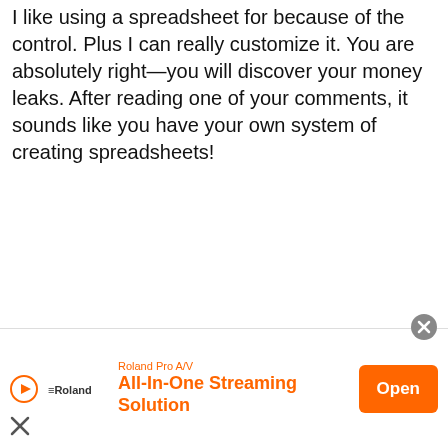I like using a spreadsheet for because of the control. Plus I can really customize it. You are absolutely right—you will discover your money leaks. After reading one of your comments, it sounds like you have your own system of creating spreadsheets!
[Figure (screenshot): Advertisement banner for Roland Pro A/V All-In-One Streaming Solution with an orange Open button]